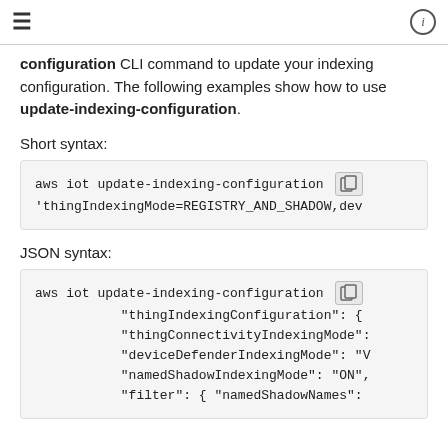≡  (i)
configuration CLI command to update your indexing configuration. The following examples show how to use update-indexing-configuration.
Short syntax:
aws iot update-indexing-configuration 'thingIndexingMode=REGISTRY_AND_SHADOW,dev
JSON syntax:
aws iot update-indexing-configuration
    "thingIndexingConfiguration": {
    "thingConnectivityIndexingMode":
    "deviceDefenderIndexingMode": "V
    "namedShadowIndexingMode": "ON",
    "filter": { "namedShadowNames":